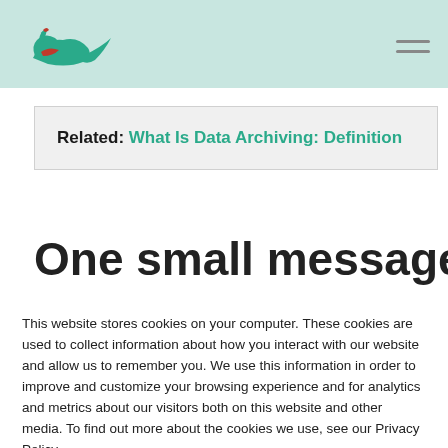Navigation header with logo and hamburger menu
Related: What Is Data Archiving: Definition
One small message for a
This website stores cookies on your computer. These cookies are used to collect information about how you interact with our website and allow us to remember you. We use this information in order to improve and customize your browsing experience and for analytics and metrics about our visitors both on this website and other media. To find out more about the cookies we use, see our Privacy Policy.
If you decline, your information won't be tracked when you visit this website. A single cookie will be used in your browser to remember your preference not to be tracked.
Accept  Decline